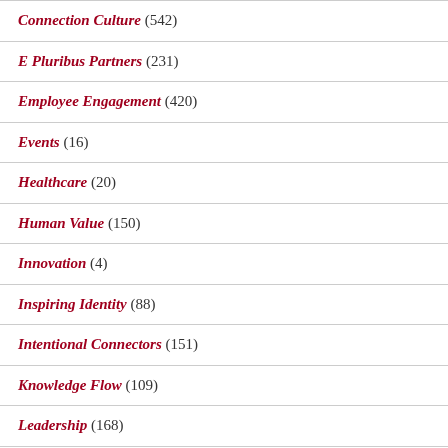Connection Culture (542)
E Pluribus Partners (231)
Employee Engagement (420)
Events (16)
Healthcare (20)
Human Value (150)
Innovation (4)
Inspiring Identity (88)
Intentional Connectors (151)
Knowledge Flow (109)
Leadership (168)